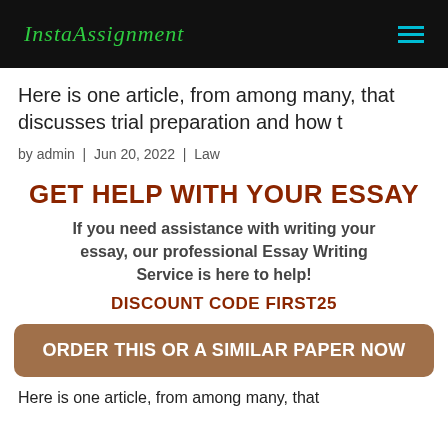InstaAssignment
Here is one article, from among many, that discusses trial preparation and how t
by admin | Jun 20, 2022 | Law
GET HELP WITH YOUR ESSAY
If you need assistance with writing your essay, our professional Essay Writing Service is here to help!
DISCOUNT CODE FIRST25
ORDER THIS OR A SIMILAR PAPER NOW
Here is one article, from among many, that